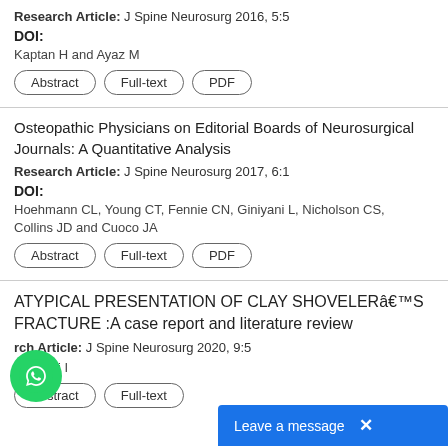Research Article: J Spine Neurosurg 2016, 5:5
DOI:
Kaptan H and Ayaz M
Abstract | Full-text | PDF
Osteopathic Physicians on Editorial Boards of Neurosurgical Journals: A Quantitative Analysis
Research Article: J Spine Neurosurg 2017, 6:1
DOI:
Hoehmann CL, Young CT, Fennie CN, Giniyani L, Nicholson CS, Collins JD and Cuoco JA
Abstract | Full-text | PDF
ATYPICAL PRESENTATION OF CLAY SHOVELER’S FRACTURE :A case report and literature review
Research Article: J Spine Neurosurg 2020, 9:5
Owolabi I
Abstract | Full-text